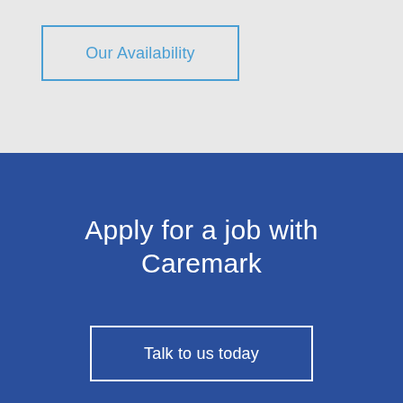Our Availability
Apply for a job with Caremark
Talk to us today